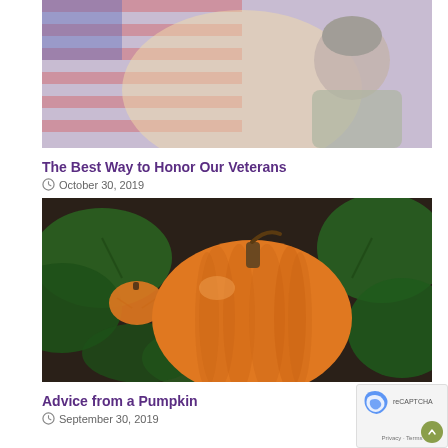[Figure (photo): A soldier in military uniform with an American flag in the background, soft purple and golden light overlay]
The Best Way to Honor Our Veterans
October 30, 2019
[Figure (photo): A large orange pumpkin in a pumpkin patch surrounded by green leaves on dark soil, with a smaller pumpkin in the background]
Advice from a Pumpkin
September 30, 2019